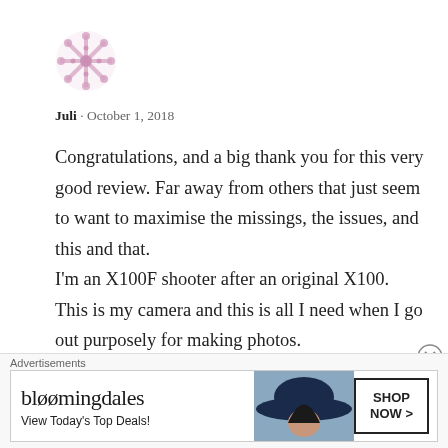[Figure (illustration): Pink/mauve snowflake or decorative flower avatar icon]
Juli · October 1, 2018
Congratulations, and a big thank you for this very good review. Far away from others that just seem to want to maximise the missings, the issues, and this and that.
I'm an X100F shooter after an original X100.
This is my camera and this is all I need when I go out purposely for making photos.
But for the rest of the time I need a capable small camera that I can have all the time with
Advertisements
[Figure (screenshot): Bloomingdale's advertisement banner: 'View Today's Top Deals!' with SHOP NOW button and woman in hat image]